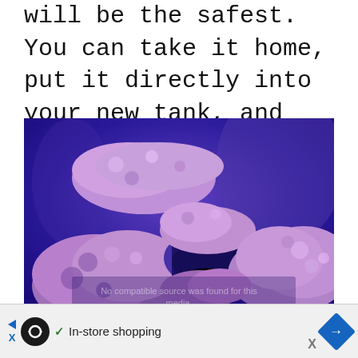will be the safest. You can take it home, put it directly into your new tank, and very likely be stocking a few fish within a matter of days.
[Figure (photo): A saltwater aquarium with live rock formations arranged in an arch shape, illuminated by blue/purple LED lighting, showing coral-encrusted rocks in front of a blue tank background.]
In-store shopping